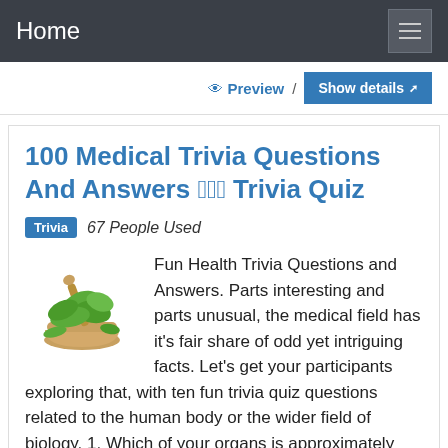Home
Preview / Show details
100 Medical Trivia Questions And Answers 🩺🩺🩺 Trivia Quiz
Trivia   67 People Used
Fun Health Trivia Questions and Answers. Parts interesting and parts unusual, the medical field has it's fair share of odd yet intriguing facts. Let's get your participants exploring that, with ten fun trivia quiz questions related to the human body or the wider field of biology. 1. Which of your organs is approximately seven metres in length? 2. What links your spleen, your gall …